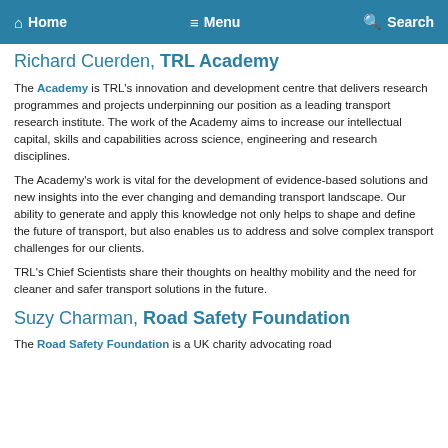Home   Menu   Search
Richard Cuerden, TRL Academy
The Academy is TRL's innovation and development centre that delivers research programmes and projects underpinning our position as a leading transport research institute. The work of the Academy aims to increase our intellectual capital, skills and capabilities across science, engineering and research disciplines.
The Academy's work is vital for the development of evidence-based solutions and new insights into the ever changing and demanding transport landscape. Our ability to generate and apply this knowledge not only helps to shape and define the future of transport, but also enables us to address and solve complex transport challenges for our clients.
TRL's Chief Scientists share their thoughts on healthy mobility and the need for cleaner and safer transport solutions in the future.
Suzy Charman, Road Safety Foundation
The Road Safety Foundation is a UK charity advocating road